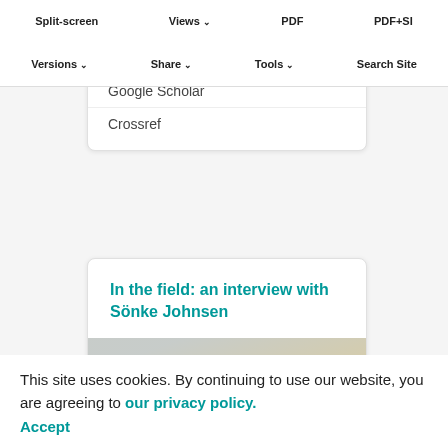Split-screen   Views   PDF   PDF+SI
Versions   Share   Tools   Search Site
Cited by
Web of Science [14]
Google Scholar
Crossref
In the field: an interview with Sönke Johnsen
This site uses cookies. By continuing to use our website, you are agreeing to our privacy policy. Accept